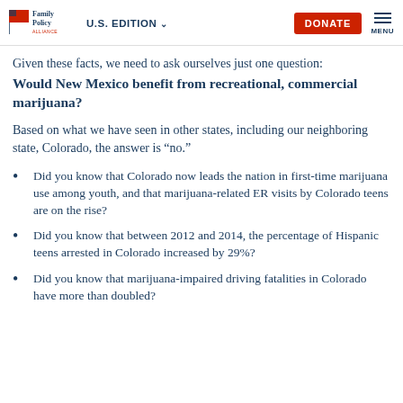Family Policy Alliance | U.S. EDITION | DONATE | MENU
Given these facts, we need to ask ourselves just one question:
Would New Mexico benefit from recreational, commercial marijuana?
Based on what we have seen in other states, including our neighboring state, Colorado, the answer is “no.”
Did you know that Colorado now leads the nation in first-time marijuana use among youth, and that marijuana-related ER visits by Colorado teens are on the rise?
Did you know that between 2012 and 2014, the percentage of Hispanic teens arrested in Colorado increased by 29%?
Did you know that marijuana-impaired driving fatalities in Colorado have more than doubled?